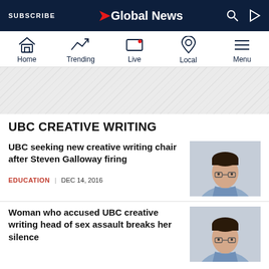SUBSCRIBE | Global News
[Figure (screenshot): Navigation bar with Home, Trending, Live, Local, Menu icons]
[Figure (other): Diagonal striped advertisement banner area]
UBC CREATIVE WRITING
UBC seeking new creative writing chair after Steven Galloway firing
EDUCATION | DEC 14, 2016
[Figure (photo): Portrait photo of a man with glasses and dark hair wearing a light blue shirt]
Woman who accused UBC creative writing head of sex assault breaks her silence
[Figure (photo): Portrait photo of a man with glasses and dark hair wearing a light blue shirt]